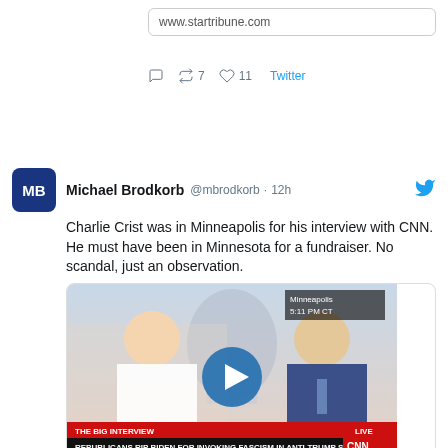www.startribune.com
7 retweets  11 likes  Twitter
Michael Brodkorb @mbrodkorb · 12h
Charlie Crist was in Minneapolis for his interview with CNN. He must have been in Minnesota for a fundraiser. No scandal, just an observation.
[Figure (screenshot): CNN news screenshot showing two anchors with chyron: THE BIG INTERVIEW / REPUBLICANS RIP BIDEN FOR INVOKING FASCISM IN ANTI-TRUMP SPEECH, LIVE, Minneapolis 5:11 PM CT]
RNC Research @RNCResearch
"What do you think about the president calling millions of Americans semi-fascist?"